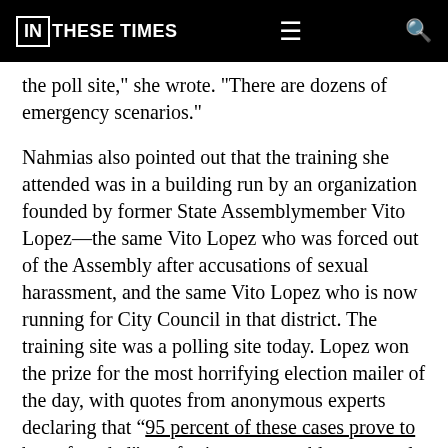IN THESE TIMES
the poll site," she wrote. "There are dozens of emergency scenarios."
Nahmias also pointed out that the training she attended was in a building run by an organization founded by former State Assemblymember Vito Lopez—the same Vito Lopez who was forced out of the Assembly after accusations of sexual harassment, and the same Vito Lopez who is now running for City Council in that district. The training site was a polling site today. Lopez won the prize for the most horrifying election mailer of the day, with quotes from anonymous experts declaring that “95 percent of these cases prove to be unfounded”—referring, presumably, to sexual harassment charges.